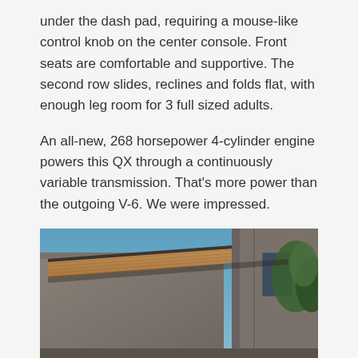under the dash pad, requiring a mouse-like control knob on the center console. Front seats are comfortable and supportive. The second row slides, reclines and folds flat, with enough leg room for 3 full sized adults.
An all-new, 268 horsepower 4-cylinder engine powers this QX through a continuously variable transmission. That's more power than the outgoing V-6. We were impressed.
Pricing starts at $36,550. Nicely equipped, about $55,000.
[Figure (photo): Exterior architectural photo showing concrete building structure with wooden overhang/canopy, blue sky in background, green trees visible on the right side.]